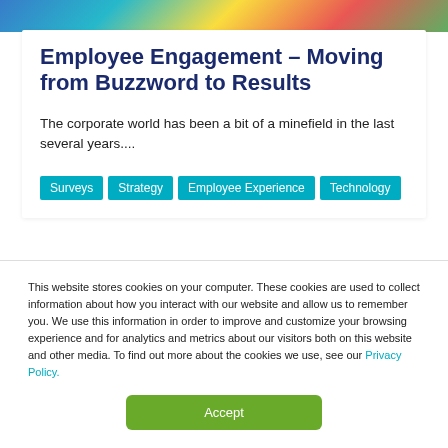[Figure (photo): Top banner image with colorful background (blue, teal, yellow, red, green) suggesting office/workplace imagery]
Employee Engagement – Moving from Buzzword to Results
The corporate world has been a bit of a minefield in the last several years....
Surveys
Strategy
Employee Experience
Technology
This website stores cookies on your computer. These cookies are used to collect information about how you interact with our website and allow us to remember you. We use this information in order to improve and customize your browsing experience and for analytics and metrics about our visitors both on this website and other media. To find out more about the cookies we use, see our Privacy Policy.